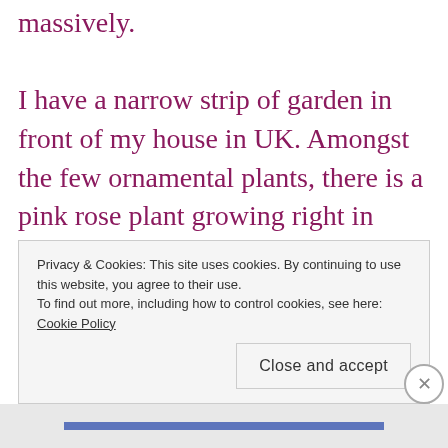massively. I have a narrow strip of garden in front of my house in UK. Amongst the few ornamental plants, there is a pink rose plant growing right in front of my bedroom window. During summer this plant miraculously turns beautiful with delicate pink roses playing hide and seek in between the soft green leaves. Being a plant lover, I cherish this cute friend
Privacy & Cookies: This site uses cookies. By continuing to use this website, you agree to their use.
To find out more, including how to control cookies, see here: Cookie Policy
Close and accept